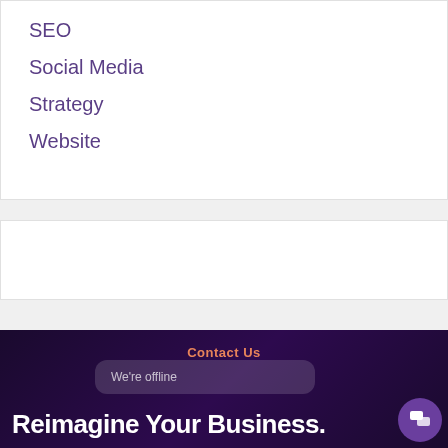SEO
Social Media
Strategy
Website
Contact Us
We're offline
Reimagine Your Business.